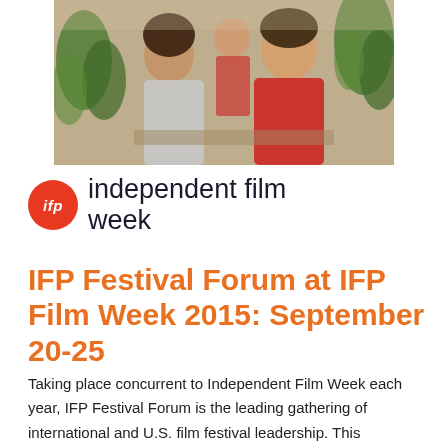[Figure (photo): Two women sitting and talking at a table, one in a red top, with plants and other people visible in the background. Appears to be a professional event or meeting setting.]
ifp independent film week
IFP Festival Forum at IFP Film Week 2015: September 20-25
Taking place concurrent to Independent Film Week each year, IFP Festival Forum is the leading gathering of international and U.S. film festival leadership. This professional association advocates for the needs and interests of film festival organizers